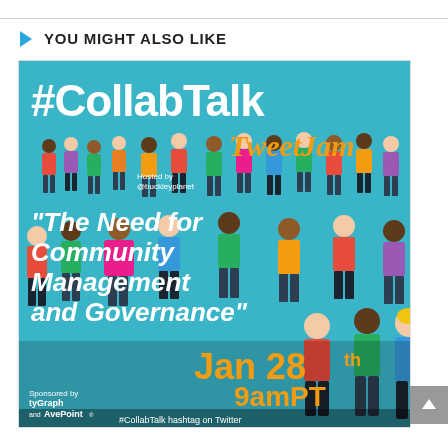YOU MIGHT ALSO LIKE
[Figure (illustration): #CollabTalk TweetJam promotional image. White bold text '#CollabTalk' at the top, orange italic text 'TweetJam' beside it. Small text 'Hosted by @buckleyplanet'. Large white bold italic text: "The Need for Community Management and Governance". Gold text 'Jan 28th 9amPT'. Black text '#CollabTalk hashtag on Twitter'. Sponsored by tyGraph and AvePoint logos at bottom left. Background shows a crowd of illustrated diverse people on a teal/blue background.]